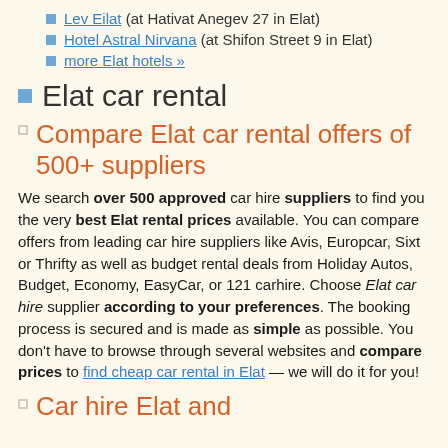Lev Eilat (at Hativat Anegev 27 in Elat)
Hotel Astral Nirvana (at Shifon Street 9 in Elat)
more Elat hotels »
Elat car rental
Compare Elat car rental offers of 500+ suppliers
We search over 500 approved car hire suppliers to find you the very best Elat rental prices available. You can compare offers from leading car hire suppliers like Avis, Europcar, Sixt or Thrifty as well as budget rental deals from Holiday Autos, Budget, Economy, EasyCar, or 121 carhire. Choose Elat car hire supplier according to your preferences. The booking process is secured and is made as simple as possible. You don't have to browse through several websites and compare prices to find cheap car rental in Elat — we will do it for you!
Car hire Elat and